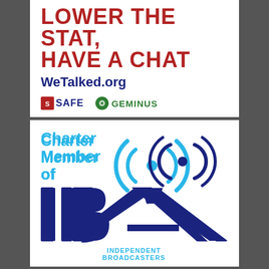LOWER THE STAT, HAVE A CHAT
WeTalked.org
[Figure (logo): SAFE and GEMINUS sponsor logos]
[Figure (logo): Charter Member of IBA - Independent Broadcasters Association logo with radio signal waves icon]